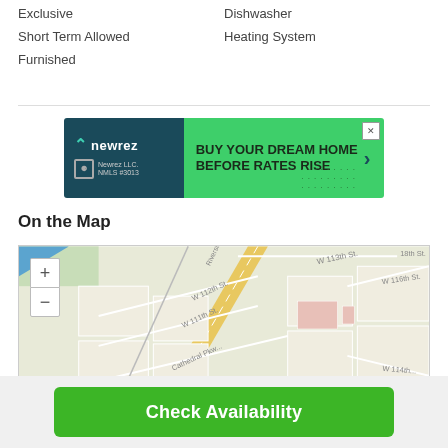Exclusive
Dishwasher
Short Term Allowed
Heating System
Furnished
[Figure (screenshot): Newrez advertisement banner: dark teal left panel with Newrez logo and 'Newrez LLC. NMLS #3013', green right panel with text 'BUY YOUR DREAM HOME BEFORE RATES RISE' and arrow]
On the Map
[Figure (map): Street map showing area around W 112th St, W 111th St, W 113th St, Cathedral Pkwy, Riverside Drive, Morningside Pond, Giraffe, W 116th St, W 114th St, W 18th St]
Check Availability